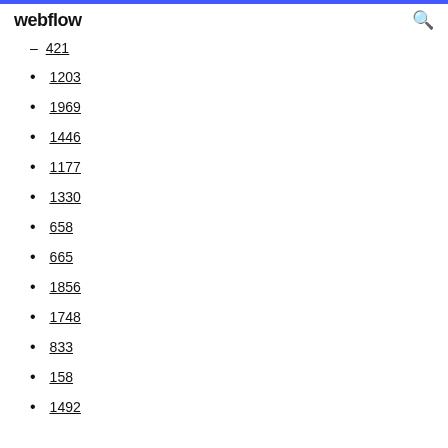webflow
421
1203
1969
1446
1177
1330
658
665
1856
1748
833
158
1492